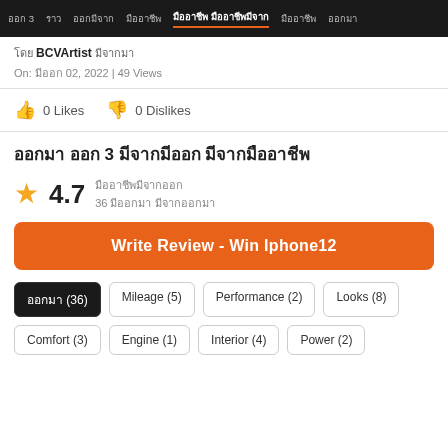ออก 3  ราว  ออกมีจาก  มืออาชีพ  มืออาชีพ มืออาชีพมีจาก  มืออาชีพ  ออกมา
โดย BCVArtist มีจากมา
On: มีออก 02, 2022 | 49 Views
0 Likes  0 Dislikes
ออกมา ออก 3 มีจากมีออก มีจากมืออาชีพ
★ 4.7
มืออาชีพมีจากออก
36 มีออกมา มีจากออกมา
Write Review - Win Iphone12
ออกมา (36)  Mileage (5)  Performance (2)  Looks (8)
Comfort (3)  Engine (1)  Interior (4)  Power (2)